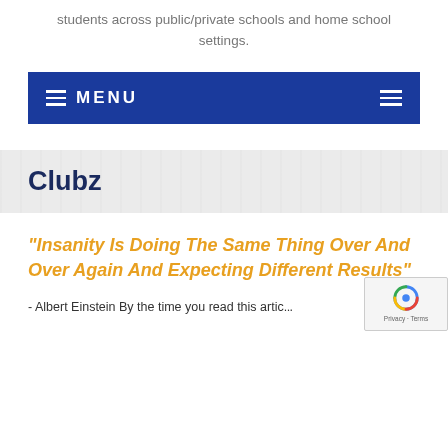students across public/private schools and home school settings.
≡ MENU
Clubz
“Insanity Is Doing The Same Thing Over And Over Again And Expecting Different Results”
- Albert Einstein By the time you read this artic...